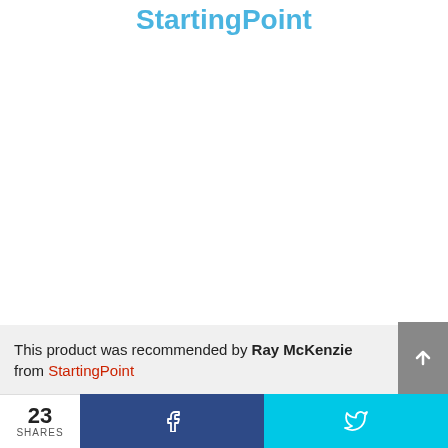StartingPoint
This product was recommended by Ray McKenzie from StartingPoint
23 SHARES